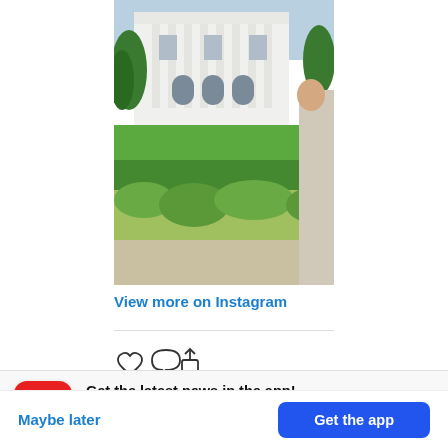[Figure (photo): Photo of the White House exterior with green lawn and trees in the foreground, a woman partially visible on the right edge.]
View more on Instagram
[Figure (infographic): Instagram action icons: heart (like), speech bubble (comment), share/upload arrow]
[Figure (logo): BuzzFeed app icon: red circle with white upward-trending arrow]
Get the latest news in the app!
Stay up to date on the most breaking news, all from your BuzzFeed app.
Maybe later
Get the app